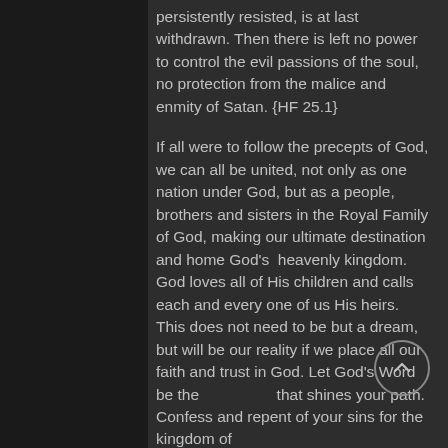persistently resisted, is at last withdrawn. Then there is left no power to control the evil passions of the soul, no protection from the malice and enmity of Satan. {HF 25.1}
If all were to follow the precepts of God, we can all be united, not only as one nation under God, but as a people, brothers and sisters in the Royal Family of God, making our ultimate destination and home God's heavenly kingdom. God loves all of His children and calls each and every one of us His heirs. This does not need to be but a dream, but will be our reality if we place all our faith and trust in God. Let God's Word be the that shines your path. Confess and repent of your sins for the kingdom of